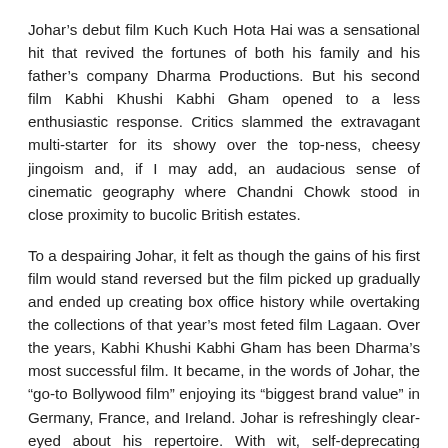Johar's debut film Kuch Kuch Hota Hai was a sensational hit that revived the fortunes of both his family and his father's company Dharma Productions. But his second film Kabhi Khushi Kabhi Gham opened to a less enthusiastic response. Critics slammed the extravagant multi-starter for its showy over the top-ness, cheesy jingoism and, if I may add, an audacious sense of cinematic geography where Chandni Chowk stood in close proximity to bucolic British estates.
To a despairing Johar, it felt as though the gains of his first film would stand reversed but the film picked up gradually and ended up creating box office history while overtaking the collections of that year's most feted film Lagaan. Over the years, Kabhi Khushi Kabhi Gham has been Dharma's most successful film. It became, in the words of Johar, the “go-to Bollywood film” enjoying its “biggest brand value” in Germany, France, and Ireland. Johar is refreshingly clear-eyed about his repertoire. With wit, self-deprecating humor and the keen sensibility of a cinephile, Johar cheerfully performs autopsies of his own films.